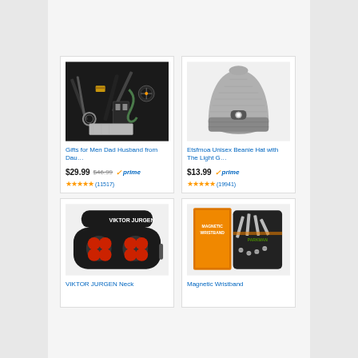[Figure (photo): Survival gear kit with multiple tools including knives, compass, flashlight, and emergency blanket]
Gifts for Men Dad Husband from Dau…
$29.99  $46.99  ✓prime
★★★★★ (11517)
[Figure (photo): Gray beanie hat with LED light on the front]
Etsfmoa Unisex Beanie Hat with The Light G…
$13.99  ✓prime
★★★★★ (19941)
[Figure (photo): Black neck massager pillow with red heating massage nodes, VIKTOR JURGEN brand]
VIKTOR JURGEN Neck
[Figure (photo): Magnetic wristband tool holder with various screws and hex keys, orange and black packaging]
Magnetic Wristband